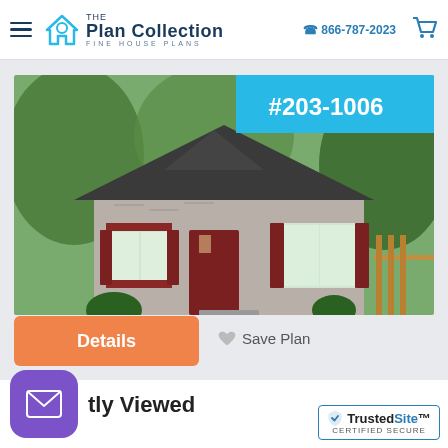The Plan Collection - FINE HOUSE PLANS | 866-787-2023
[Figure (photo): Rendered exterior photo of a cottage-style stone house with dark roof, red shutters, and surrounding trees. Plan number badge #203-1006 shown in cyan overlay top-right.]
#203-1006
Details
Save Plan
tly Viewed
[Figure (logo): TrustedSite Certified Secure badge]
TrustedSite CERTIFIED SECURE